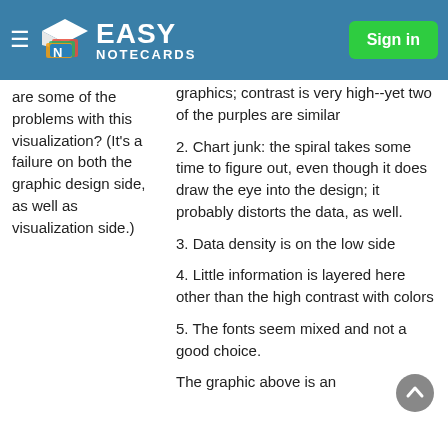Easy Notecards — Sign in
are some of the problems with this visualization? (It's a failure on both the graphic design side, as well as visualization side.)
graphics; contrast is very high--yet two of the purples are similar
2. Chart junk: the spiral takes some time to figure out, even though it does draw the eye into the design; it probably distorts the data, as well.
3. Data density is on the low side
4. Little information is layered here other than the high contrast with colors
5. The fonts seem mixed and not a good choice.
The graphic above is an